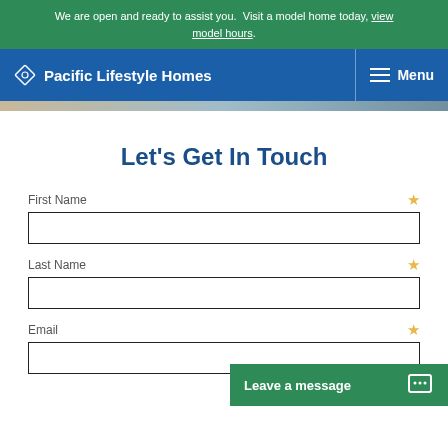We are open and ready to assist you.  Visit a model home today, view model hours.
Pacific Lifestyle Homes
Let's Get In Touch
First Name ★
Last Name ★
Email ★
Leave a message